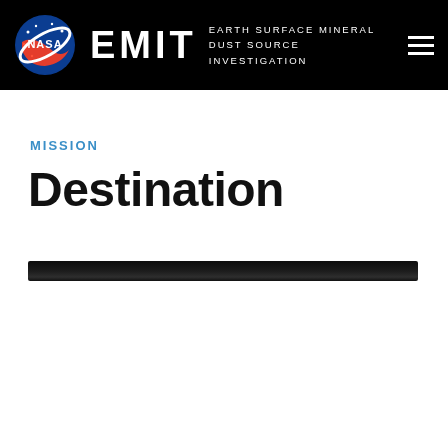EMIT EARTH SURFACE MINERAL DUST SOURCE INVESTIGATION
MISSION
Destination
[Figure (photo): A narrow horizontal dark bar representing a cropped image or video thumbnail, nearly black, spanning most of the page width.]